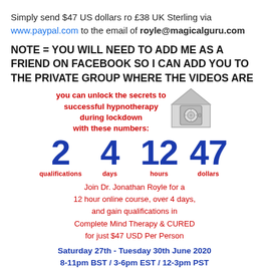Simply send $47 US dollars ro £38 UK Sterling via www.paypal.com to the email of royle@magicalguru.com
NOTE = YOU WILL NEED TO ADD ME AS A FRIEND ON FACEBOOK SO I CAN ADD YOU TO THE PRIVATE GROUP WHERE THE VIDEOS ARE
[Figure (infographic): Infographic with house/safe image, unlock text in red, and four large blue numbers (2 qualifications, 4 days, 12 hours, 47 dollars) with red labels beneath each number.]
Join Dr. Jonathan Royle for a 12 hour online course, over 4 days, and gain qualifications in Complete Mind Therapy & CURED for just $47 USD Per Person
Saturday 27th - Tuesday 30th June 2020 8-11pm BST / 3-6pm EST / 12-3pm PST